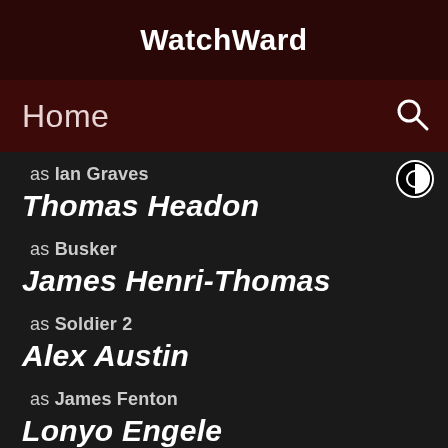WatchWard
Home
as Ian Graves
Thomas Headon
as Busker
James Henri-Thomas
as Soldier 2
Alex Austin
as James Fenton
Lonyo Engele
as Darren Park